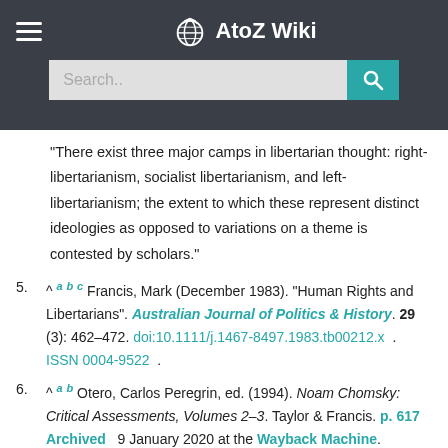AtoZ Wiki
"There exist three major camps in libertarian thought: right-libertarianism, socialist libertarianism, and left-libertarianism; the extent to which these represent distinct ideologies as opposed to variations on a theme is contested by scholars."
5. ^ a b c Francis, Mark (December 1983). "Human Rights and Libertarians". Australian Journal of Politics & History. 29 (3): 462–472. doi:10.1111/j.1467-8497.1983.tb00212.x . ISSN 0004-9522 .
6. ^ a b Otero, Carlos Peregrin, ed. (1994). Noam Chomsky: Critical Assessments, Volumes 2–3. Taylor & Francis. p. 617 Archived 9 January 2020 at the Wayback Machine. ISBN 978-0415106948.
7. ^ Long, Roderick T. (2012). "The Rise of Social Anarchism". In Gaus, Gerald F.; DiAgostino, Fred, eds. The Routledge